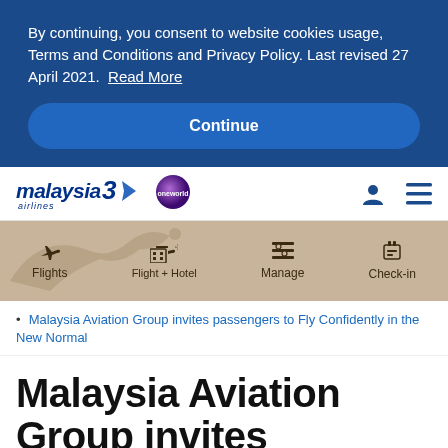By continuing, you consent to website cookies usage, Terms and Conditions and Privacy Policy. Last revised 27 April 2021. Read More
Continue
[Figure (logo): Malaysia Airlines logo with oneworld badge, person icon, and menu icon in navigation bar]
[Figure (infographic): Booking navigation bar with Flights, Flight + Hotel, Manage, Check-in options on tan/beige background]
Malaysia Aviation Group invites passengers to Fly Confidently in the New Normal
Malaysia Aviation Group invites passengers to Fly